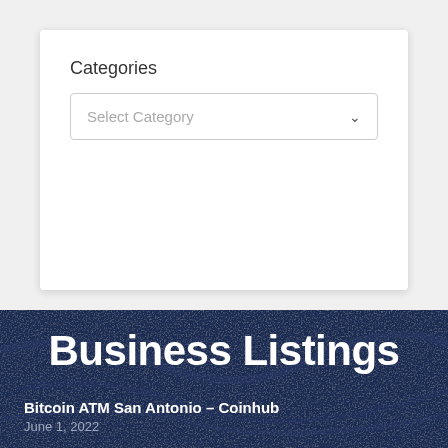Categories
[Figure (screenshot): A dropdown UI element labeled 'Select Category' with a chevron arrow on the right, inside a white card on a light gray background.]
Business Listings
Bitcoin ATM San Antonio – Coinhub
June 1, 2022